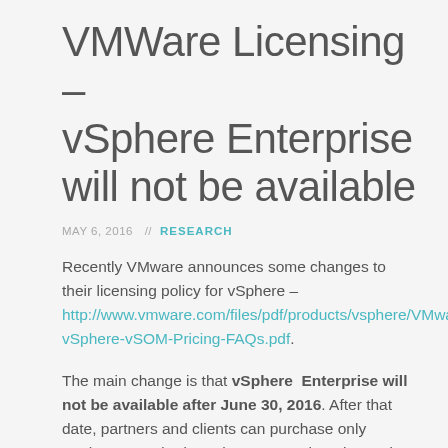VMWare Licensing – vSphere Enterprise will not be available
MAY 6, 2016  //  RESEARCH
Recently VMware announces some changes to their licensing policy for vSphere – http://www.vmware.com/files/pdf/products/vsphere/VMware-vSphere-vSOM-Pricing-FAQs.pdf.
The main change is that vSphere  Enterprise will not be available after June 30, 2016. After that date, partners and clients can purchase only vSphere Standard, vSphere Enterprise Plus and
vSphere with Operations Management Enterprise Plus licenses. They also slightly increased the retail prices for all